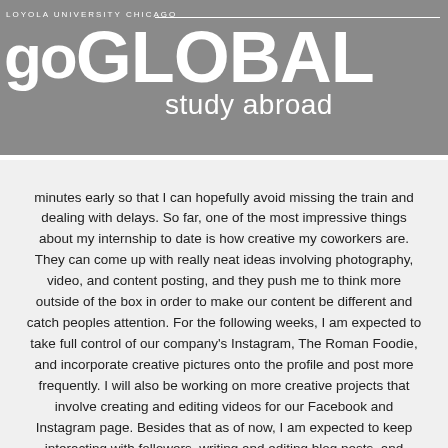LOYOLA UNIVERSITY CHICAGO
GO GLOBAL study abroad
minutes early so that I can hopefully avoid missing the train and dealing with delays. So far, one of the most impressive things about my internship to date is how creative my coworkers are. They can come up with really neat ideas involving photography, video, and content posting, and they push me to think more outside of the box in order to make our content be different and catch peoples attention. For the following weeks, I am expected to take full control of our company's Instagram, The Roman Foodie, and incorporate creative pictures onto the profile and post more frequently. I will also be working on more creative projects that involve creating and editing videos for our Facebook and Instagram page. Besides that as of now, I am expected to keep interacting with followers, writing and editing blog posts, and